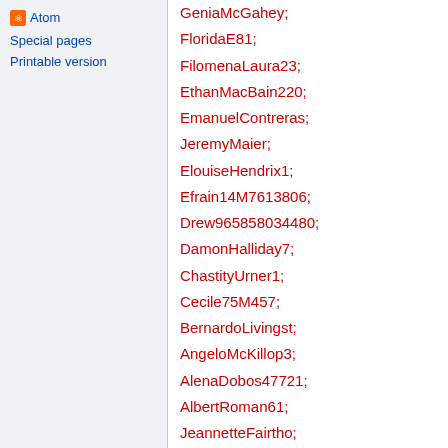Atom
Special pages
Printable version
GeniaMcGahey; FloridaE81; FilomenaLaura23; EthanMacBain220; EmanuelContreras; JeremyMaier; ElouiseHendrix1; Efrain14M7613806; Drew965858034480; DamonHalliday7; ChastityUrner1; Cecile75M457; BernardoLivingst; AngeloMcKillop3; AlenaDobos47721; AlbertRoman61; JeannetteFairtho; JungDavies58794; WilliemaeHoutz; RobNzq6356; WhitneyDrq;